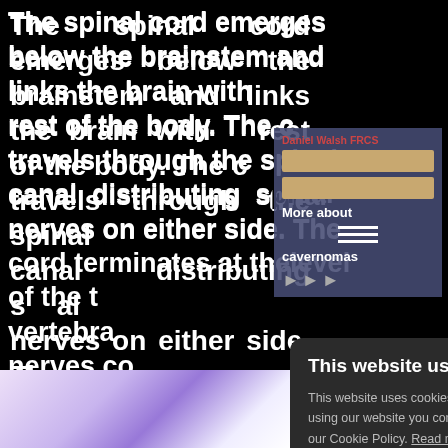The spinal cord emerges below the brainstem and links the brain with the rest of the body. The cord travels through the spinal canal distributing spinal nerves on either side. The cord terminates at the level of the twelfth vertebra ... nerves continue as the lumbar ... the Cauda ...
[Figure (screenshot): Website UI overlay showing 'Daniel Walsh FRCS' author name, two tan/beige colored rectangles (image placeholders), 'More about', three hamburger menu lines, 'cavernomas', and three play/arrow icons — overlaid on the article text in a dark blue-gray panel.]
[Figure (screenshot): Cookie consent dialog box on dark background. Heading: 'This website uses cookies'. Body: 'This website uses cookies to improve user experience. By using our website you consent to all cookies in accordance with our Cookie Policy. Read more'. Two buttons: 'I AGREE' (green) and 'I DISAGREE' (outlined). X close button in top right.]
[Figure (photo): Partial view of a medical/anatomical image at the bottom left, appears to show a specimen with purple/violet staining on white background.]